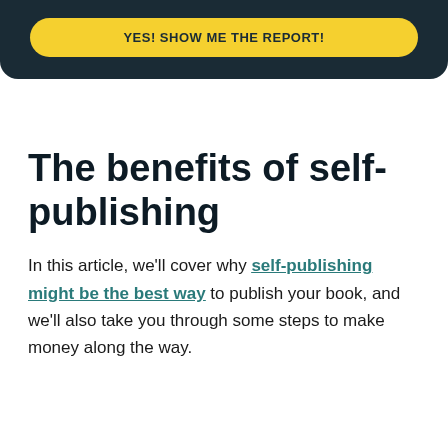[Figure (other): Dark navy banner with a yellow rounded button labeled 'YES! SHOW ME THE REPORT!']
The benefits of self-publishing
In this article, we'll cover why self-publishing might be the best way to publish your book, and we'll also take you through some steps to make money along the way.